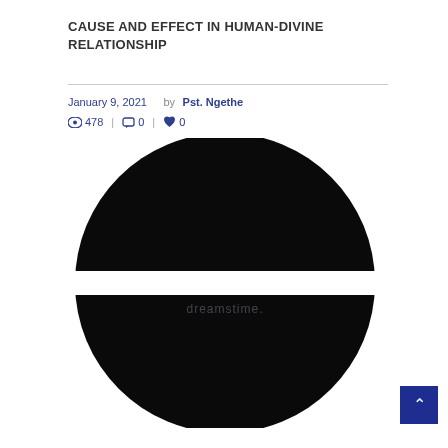CAUSE AND EFFECT IN HUMAN-DIVINE RELATIONSHIP
January 9, 2021  by Pst. Ngethe
478  | 0  | 0
[Figure (illustration): Black circle split horizontally in the middle with two white arrow shapes pointing inward from left and right sides, creating a cause-and-effect visual metaphor. Dreamstine watermark visible.]